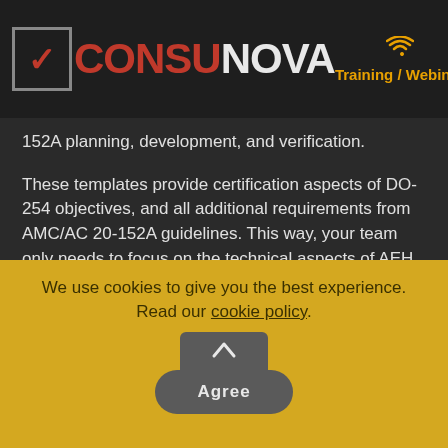CONSULNOVA Training / Webinar
152A planning, development, and verification.
These templates provide certification aspects of DO-254 objectives, and all additional requirements from AMC/AC 20-152A guidelines. This way, your team only needs to focus on the technical aspects of AEH challenges.
We use cookies to give you the best experience. Read our cookie policy.